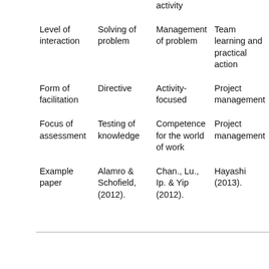|  |  | activity |  |
| Level of interaction | Solving of problem | Management of problem | Team learning and practical action |
| Form of facilitation | Directive | Activity-focused | Project management |
| Focus of assessment | Testing of knowledge | Competence for the world of work | Project management |
| Example paper | Alamro & Schofield, (2012). | Chan., Lu., Ip. & Yip (2012). | Hayashi (2013). |